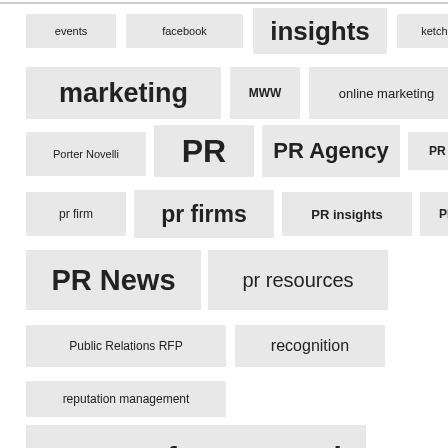[Figure (infographic): Tag cloud showing PR and marketing related terms in varying font sizes indicating frequency/importance. Tags include: events, facebook, insights, ketchum, marketing, MWW, online marketing, politics, Porter Novelli, PR, PR Agency, PR Campaign, pr firm, pr firms, PR insights, PR leaders, PR News, pr resources, Public Relations RFP, recognition, reputation management, request for proposal, and partially visible tags at bottom.]